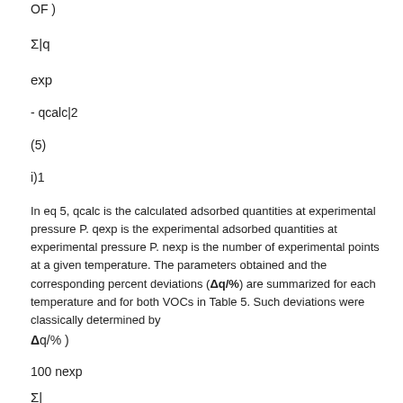In eq 5, qcalc is the calculated adsorbed quantities at experimental pressure P. qexp is the experimental adsorbed quantities at experimental pressure P. nexp is the number of experimental points at a given temperature. The parameters obtained and the corresponding percent deviations (Δq/%) are summarized for each temperature and for both VOCs in Table 5. Such deviations were classically determined by